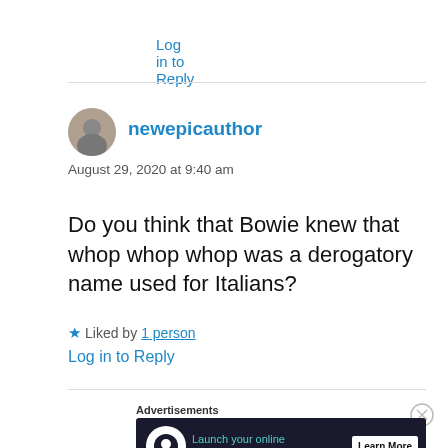Log in to Reply
newepicauthor
August 29, 2020 at 9:40 am
Do you think that Bowie knew that whop whop whop was a derogatory name used for Italians?
Liked by 1 person
Log in to Reply
Advertisements
[Figure (other): Advertisement banner: Launch your online course with WordPress. Learn More button.]